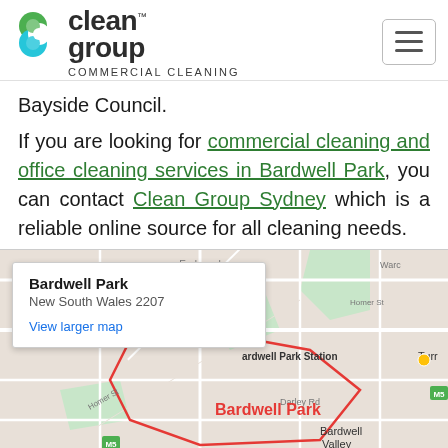Clean Group - Commercial Cleaning
Bayside Council.
If you are looking for commercial cleaning and office cleaning services in Bardwell Park, you can contact Clean Group Sydney which is a reliable online source for all cleaning needs.
[Figure (map): Google Map showing Bardwell Park, New South Wales 2207, with popup showing location info and 'View larger map' link. Map shows streets including Homer St and Darley Rd, Bardwell Park Station, and surrounding suburbs.]